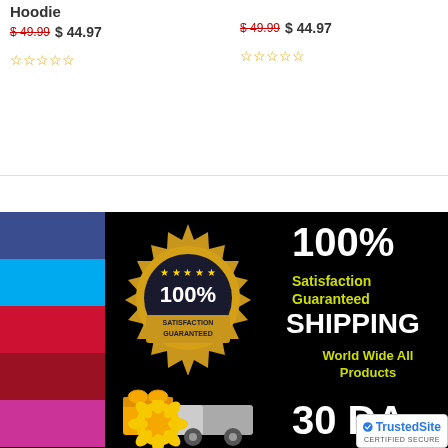Hoodie
$49.99 $44.97
★★★★★ (0 stars)
$49.99 $44.97
★★★★★ (0 stars)
[Figure (infographic): Satisfaction Guaranteed badge and color swatches, shipping truck emoji, 100% Satisfaction Guaranteed text, SHIPPING World Wide All Products, 30 DAY text, TrustedSite certified secure badge]
100%
Satisfaction Guaranteed
SHIPPING
World Wide All Products
30 DA